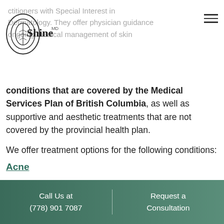[Figure (logo): Shine MD logo — oval leaf/plant emblem with 'Shine' wordmark and 'MD' superscript]
ctitioners with Special Interest in
Dermatology. They offer physician guidance
ongoing medical management of skin
conditions that are covered by the Medical Services Plan of British Columbia, as well as supportive and aesthetic treatments that are not covered by the provincial health plan.
We offer treatment options for the following conditions:
Acne
Acne Scars
Actinic Keratosis
Skin Lesions & Moles
Call Us at (778) 901 7087 | Request a Consultation